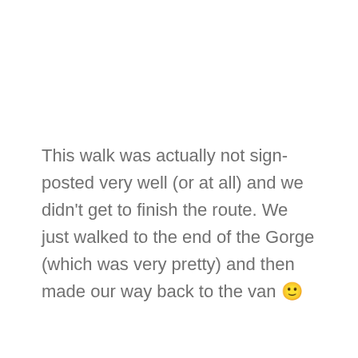This walk was actually not sign-posted very well (or at all) and we didn't get to finish the route. We just walked to the end of the Gorge (which was very pretty) and then made our way back to the van 🙂